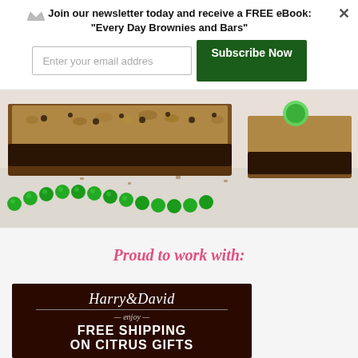Join our newsletter today and receive a FREE eBook: "Every Day Brownies and Bars"
[Figure (screenshot): Email subscription form with text input and Subscribe Now button]
[Figure (photo): Close-up photo of chocolate brownies/bars with green beaded necklace on white surface]
Proud to work with:
[Figure (photo): Harry & David advertisement: enjoy FREE SHIPPING ON CITRUS GIFTS, dark brown background with white script logo]